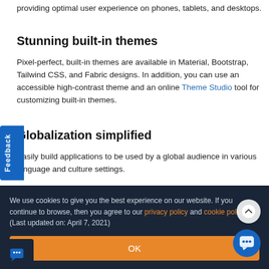providing optimal user experience on phones, tablets, and desktops.
Stunning built-in themes
Pixel-perfect, built-in themes are available in Material, Bootstrap, Tailwind CSS, and Fabric designs. In addition, you can use an accessible high-contrast theme and an online Theme Studio tool for customizing built-in themes.
Globalization simplified
Easily build applications to be used by a global audience in various language and culture settings.
We use cookies to give you the best experience on our website. If you continue to browse, then you agree to our privacy policy and cookie policy.  (Last updated on: April 7, 2021)
OK